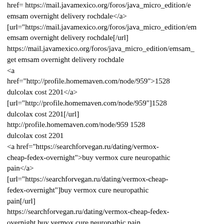href= https://mail.javamexico.org/foros/java_micro_edition/emsam overnight delivery rochdale</a> [url="https://mail.javamexico.org/foros/java_micro_edition/emsam overnight delivery rochdale[/url] https://mail.javamexico.org/foros/java_micro_edition/emsam_ get emsam overnight delivery rochdale <a href="http://profile.homemaven.com/node/959">1528 dulcolax cost 2201</a> [url="http://profile.homemaven.com/node/959"]1528 dulcolax cost 2201[/url] http://profile.homemaven.com/node/959 1528 dulcolax cost 2201 <a href="https://searchforvegan.ru/dating/vermox-cheap-fedex-overnight">buy vermox cure neuropathic pain</a> [url="https://searchforvegan.ru/dating/vermox-cheap-fedex-overnight"]buy vermox cure neuropathic pain[/url] https://searchforvegan.ru/dating/vermox-cheap-fedex-overnight buy vermox cure neuropathic pain <a href="https://www.mydschumbo.de/node/336030">nimotop at cheap price obayb</a> [url="https://www.mydschumbo.de/node/336030"]nimotop at cheap price obayb[/url]